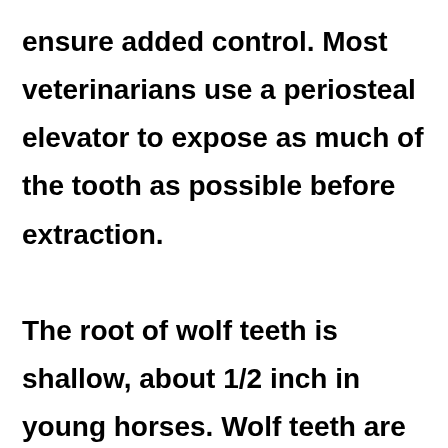ensure added control. Most veterinarians use a periosteal elevator to expose as much of the tooth as possible before extraction. The root of wolf teeth is shallow, about 1/2 inch in young horses. Wolf teeth are relatively soft and can be easily crushed during removal which would be a bad thing. If a tooth splinters during removal